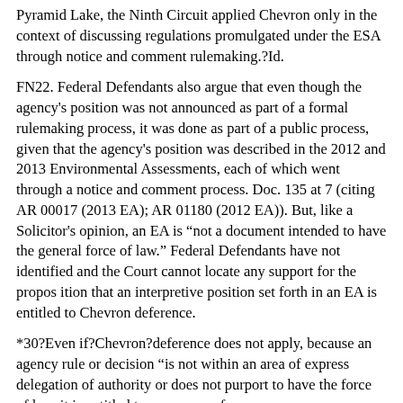Pyramid Lake, the Ninth Circuit applied Chevron only in the context of discussing regulations promulgated under the ESA through notice and comment rulemaking.?Id.
FN22. Federal Defendants also argue that even though the agency's position was not announced as part of a formal rulemaking process, it was done as part of a public process, given that the agency's position was described in the 2012 and 2013 Environmental Assessments, each of which went through a notice and comment process. Doc. 135 at 7 (citing AR 00017 (2013 EA); AR 01180 (2012 EA)). But, like a Solicitor's opinion, an EA is "not a document intended to have the general force of law." Federal Defendants have not identified and the Court cannot locate any support for the proposition that an interpretive position set forth in an EA is entitled to Chevron deference.
*30?Even if?Chevron?deference does not apply, because an agency rule or decision "is not within an area of express delegation of authority or does not purport to have the force of law, it is entitled to a measure of